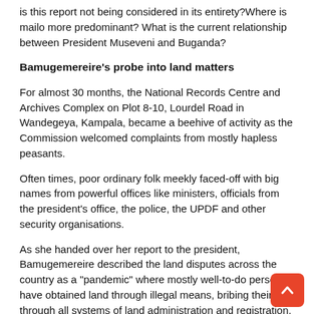is this report not being considered in its entirety?Where is mailo more predominant? What is the current relationship between President Museveni and Buganda?
Bamugemereire's probe into land matters
For almost 30 months, the National Records Centre and Archives Complex on Plot 8-10, Lourdel Road in Wandegeya, Kampala, became a beehive of activity as the Commission welcomed complaints from mostly hapless peasants.
Often times, poor ordinary folk meekly faced-off with big names from powerful offices like ministers, officials from the president's office, the police, the UPDF and other security organisations.
As she handed over her report to the president, Bamugemereire described the land disputes across the country as a "pandemic" where mostly well-to-do persons have obtained land through illegal means, bribing their way through all systems of land administration and registration.
“The land question in Uganda remains unanswered,” she told Museveni.